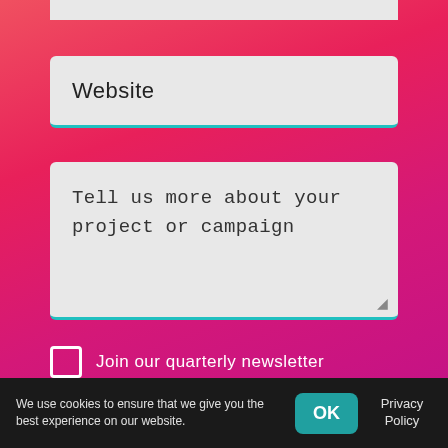Website
Tell us more about your project or campaign
Join our quarterly newsletter
SCHEDULE A CALL →
By submitting this form you agree to our privacy policy.
We use cookies to ensure that we give you the best experience on our website. OK Privacy Policy